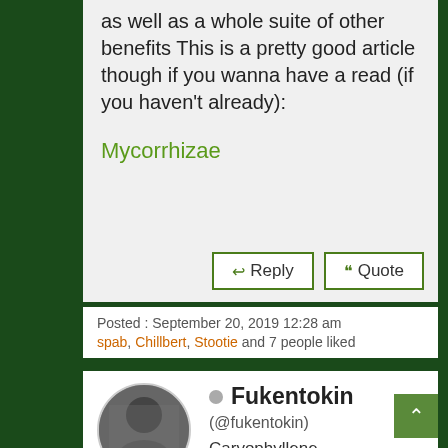as well as a whole suite of other benefits This is a pretty good article though if you wanna have a read (if you haven't already):
Mycorrhizae
Reply | Quote
Posted : September 20, 2019 12:28 am
spab, Chillbert, Stootie and 7 people liked
Fukentokin (@fukentokin) Caryophyllene Known Member